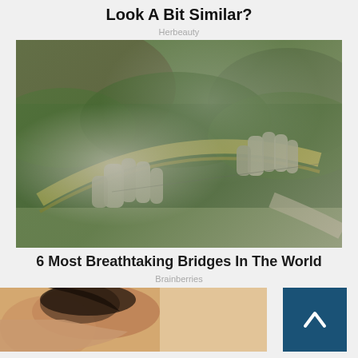Look A Bit Similar?
Herbeauty
[Figure (photo): Aerial view of the Golden Bridge in Vietnam, supported by giant stone hands, with tourists walking on it and mountain forest below]
6 Most Breathtaking Bridges In The World
Brainberries
[Figure (photo): Partial view of a person with dark hair, resting on a surface]
[Figure (other): Dark blue scroll-to-top button with upward chevron arrow]